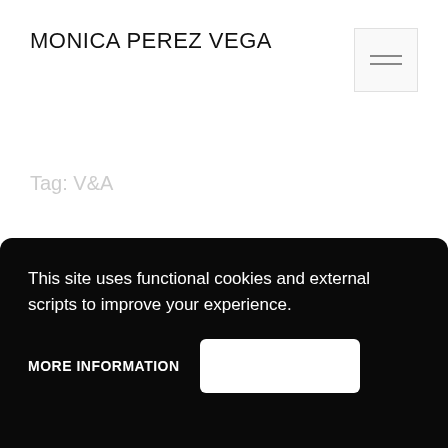MONICA PEREZ VEGA
[Figure (other): Hamburger menu icon — two horizontal grey lines inside a light grey bordered square button]
Tag: V&A
This site uses functional cookies and external scripts to improve your experience.
MORE INFORMATION